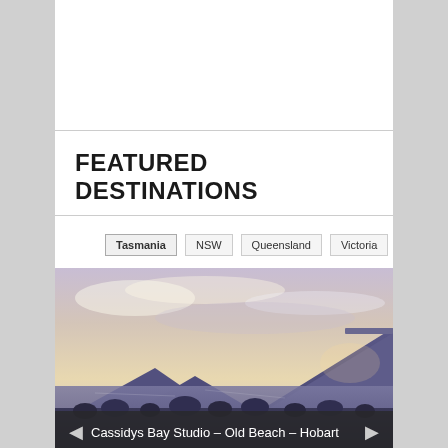FEATURED DESTINATIONS
Tasmania
NSW
Queensland
Victoria
[Figure (photo): Scenic landscape photo of Cassidys Bay Studio area near Old Beach, Hobart, Tasmania. Shows a large mountain silhouette, calm water, trees, and a dramatic purple-blue sunset sky with clouds.]
Cassidys Bay Studio – Old Beach – Hobart